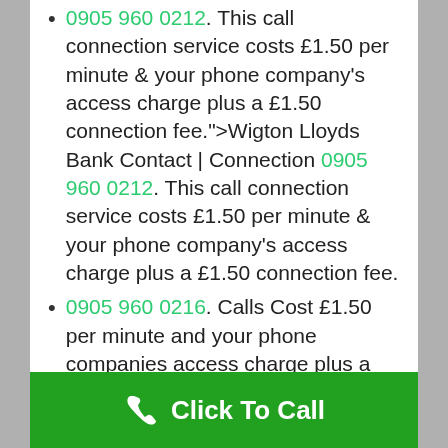0905 960 0212. This call connection service costs £1.50 per minute & your phone company's access charge plus a £1.50 connection fee.">Wigton Lloyds Bank Contact | Connection 0905 960 0212. This call connection service costs £1.50 per minute & your phone company's access charge plus a £1.50 connection fee.
0905 960 0216. Calls Cost £1.50 per minute and your phone companies access charge plus a £1.50 connection fee">Ashington NATWEST Connection Number 0905 960 0216. Calls Cost £1.50 per minute and your phone companies access charge plus a £1.50 connection fee
0905 960 0212. This call connection
Click To Call